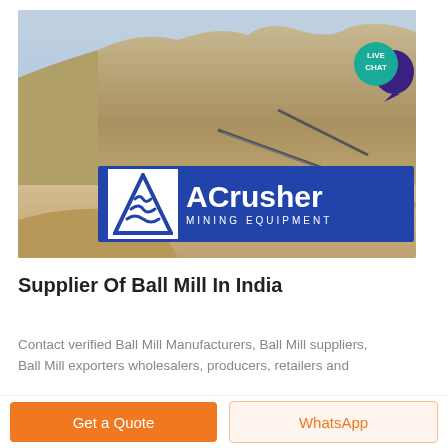[Figure (photo): Aerial view of a mining quarry/open-pit site with heavy machinery, conveyor belts, and rocky terrain. ACrusher Mining Equipment logo overlay at bottom of image.]
Supplier Of Ball Mill In India
Contact verified Ball Mill Manufacturers, Ball Mill suppliers, Ball Mill exporters wholesalers, producers, retailers and
Get a Quote
WhatsApp